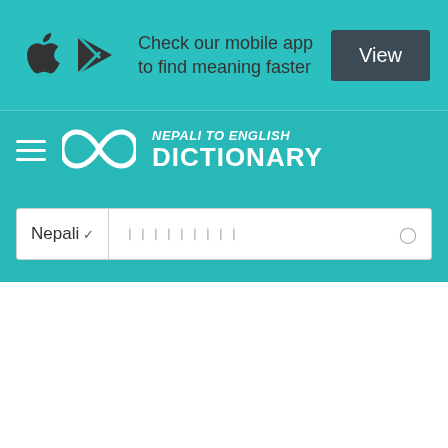[Figure (screenshot): Ad banner with Apple and Google Play icons, text 'Check our mobile app to find meaning faster', and a dark 'View' button]
[Figure (logo): Nepali to English Dictionary navigation bar with hamburger menu, infinity logo, and NEPALI TO ENGLISH DICTIONARY text]
Nepali ∨  [Nepali script placeholder]  ○